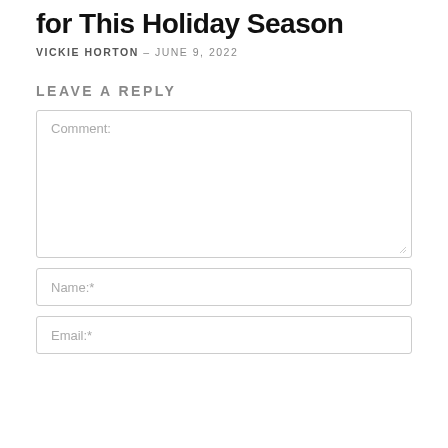for This Holiday Season
VICKIE HORTON – JUNE 9, 2022
LEAVE A REPLY
Comment:
Name:*
Email:*